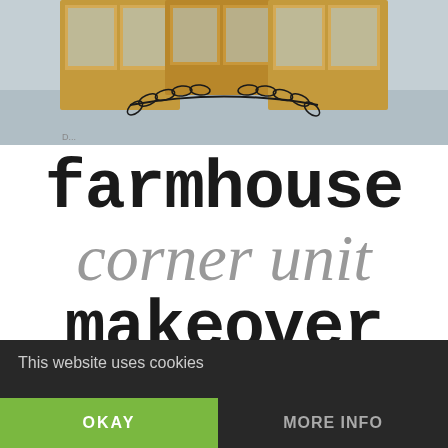[Figure (photo): Photo of wooden corner unit furniture with glass doors on gray floor, with decorative laurel branch overlay]
farmhouse corner unit makeover
[Figure (photo): Bottom portion of a beige/cream painted surface with decorative laurel branch illustration]
This website uses cookies
OKAY
MORE INFO